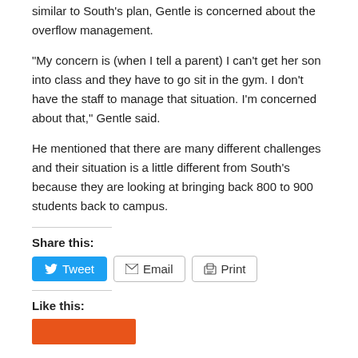similar to South's plan, Gentle is concerned about the overflow management.
“My concern is (when I tell a parent) I can’t get her son into class and they have to go sit in the gym. I don’t have the staff to manage that situation. I’m concerned about that,” Gentle said.
He mentioned that there are many different challenges and their situation is a little different from South’s because they are looking at bringing back 800 to 900 students back to campus.
Share this:
Tweet  Email  Print
Like this: